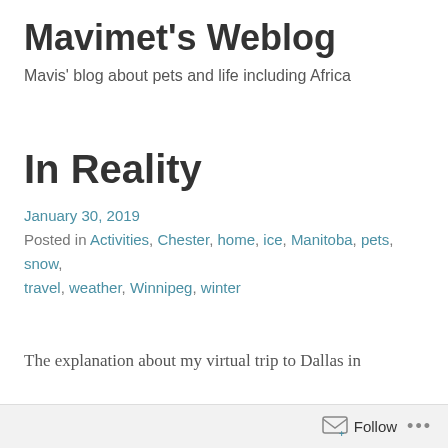Mavimet's Weblog
Mavis' blog about pets and life including Africa
In Reality
January 30, 2019
Posted in Activities, Chester, home, ice, Manitoba, pets, snow, travel, weather, Winnipeg, winter
The explanation about my virtual trip to Dallas in
Follow ...